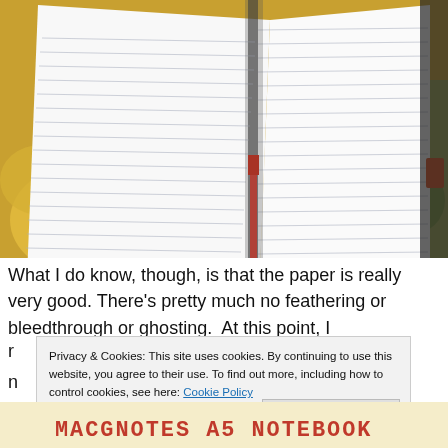[Figure (photo): Open notebook with lined pages visible, lying on a yellow and green floral fabric background. A red ribbon bookmark is visible on the left side, and an orange bookmark tab on the right edge.]
What I do know, though, is that the paper is really very good. There's pretty much no feathering or bleedthrough or ghosting. At this point, I
Privacy & Cookies: This site uses cookies. By continuing to use this website, you agree to their use. To find out more, including how to control cookies, see here: Cookie Policy
Close and accept
[Figure (photo): Bottom portion of an image showing handwritten text 'MACGNOTES A5 NOTEBOOK' in red/dark ink on a light cream/yellow background.]